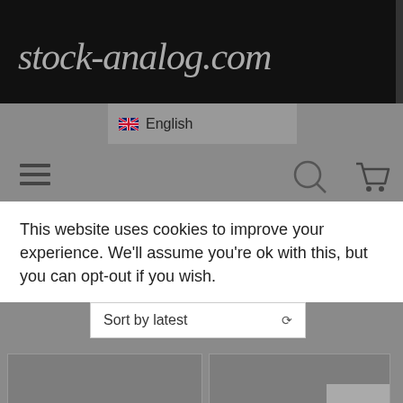stock-analog.com
English
This website uses cookies to improve your experience. We'll assume you're ok with this, but you can opt-out if you wish.
Sort by latest